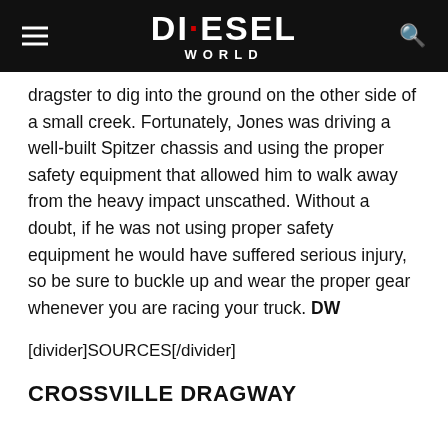DIESEL WORLD
dragster to dig into the ground on the other side of a small creek. Fortunately, Jones was driving a well-built Spitzer chassis and using the proper safety equipment that allowed him to walk away from the heavy impact unscathed. Without a doubt, if he was not using proper safety equipment he would have suffered serious injury, so be sure to buckle up and wear the proper gear whenever you are racing your truck. DW
[divider]SOURCES[/divider]
CROSSVILLE DRAGWAY